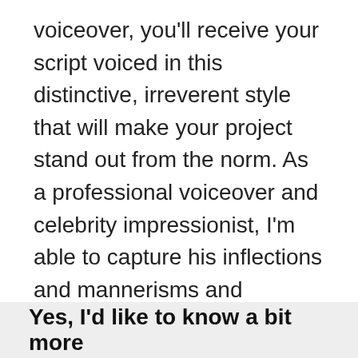voiceover, you'll receive your script voiced in this distinctive, irreverent style that will make your project stand out from the norm. As a professional voiceover and celebrity impressionist, I'm able to capture his inflections and mannerisms and whether you need this for a parody or or to enhance your brand, you can be sure that by having such a recognisable voiceover, it will lift your audio and put a smile on your audience faces. Please do contact me and I'll be happy to discuss your project and and deliver your script in the style you need.
Yes, I'd like to know a bit more